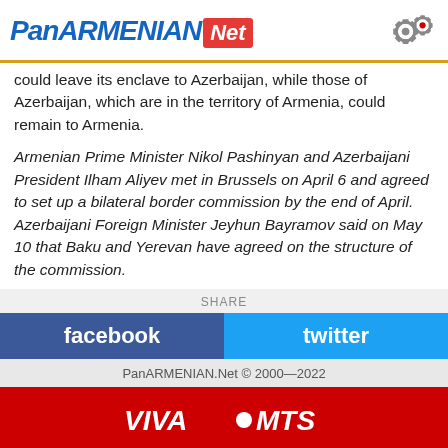PanARMENIAN Net
could leave its enclave to Azerbaijan, while those of Azerbaijan, which are in the territory of Armenia, could remain to Armenia.
Armenian Prime Minister Nikol Pashinyan and Azerbaijani President Ilham Aliyev met in Brussels on April 6 and agreed to set up a bilateral border commission by the end of April. Azerbaijani Foreign Minister Jeyhun Bayramov said on May 10 that Baku and Yerevan have agreed on the structure of the commission.
SHARE
facebook
twitter
PanARMENIAN.Net © 2000—2022
[Figure (logo): VIVA MTS logo on red background]